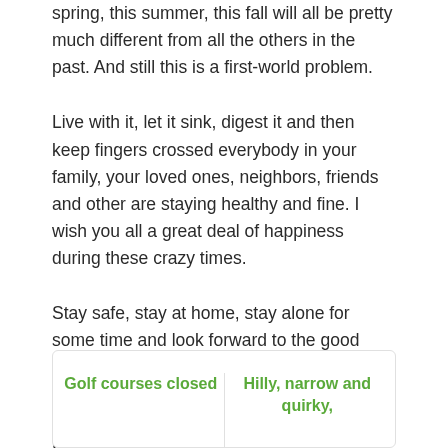spring, this summer, this fall will all be pretty much different from all the others in the past. And still this is a first-world problem.
Live with it, let it sink, digest it and then keep fingers crossed everybody in your family, your loved ones, neighbors, friends and other are staying healthy and fine. I wish you all a great deal of happiness during these crazy times.
Stay safe, stay at home, stay alone for some time and look forward to the good times which clearly are just around the corner.
See you on the golf course, folks!
Golf courses closed | Hilly, narrow and quirky,